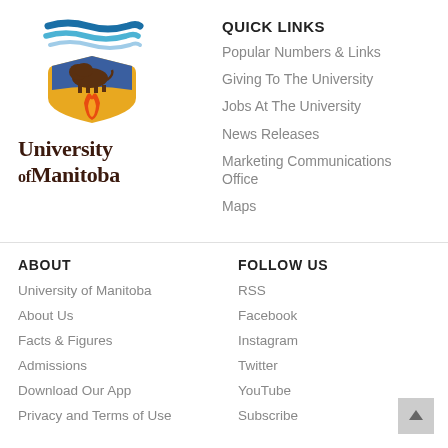[Figure (logo): University of Manitoba logo with bison and shield emblem and wordmark]
QUICK LINKS
Popular Numbers & Links
Giving To The University
Jobs At The University
News Releases
Marketing Communications Office
Maps
ABOUT
University of Manitoba
About Us
Facts & Figures
Admissions
Download Our App
Privacy and Terms of Use
FOLLOW US
RSS
Facebook
Instagram
Twitter
YouTube
Subscribe